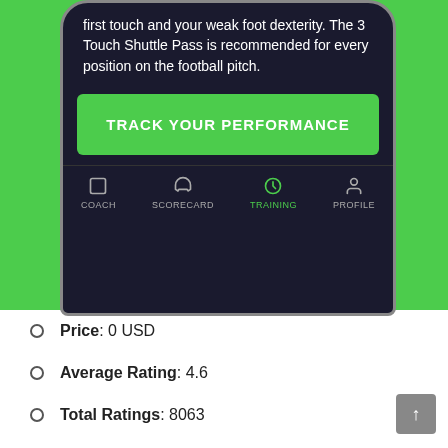[Figure (screenshot): Screenshot of a football training app on a smartphone. The phone shows text about weak foot dexterity and the 3 Touch Shuttle Pass, a green 'TRACK YOUR PERFORMANCE' button, and a bottom navigation bar with COACH, SCORECARD, TRAINING (active), and PROFILE tabs. The phone is set against a bright green background.]
Price: 0 USD
Average Rating: 4.6
Total Ratings: 8063